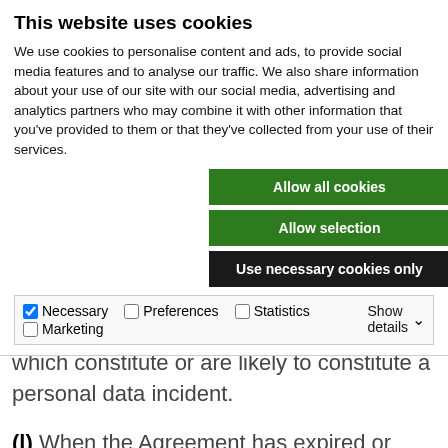This website uses cookies
We use cookies to personalise content and ads, to provide social media features and to analyse our traffic. We also share information about your use of our site with our social media, advertising and analytics partners who may combine it with other information that you've provided to them or that they've collected from your use of their services.
Allow all cookies
Allow selection
Use necessary cookies only
| Necessary | Preferences | Statistics | Marketing | Show details |
| --- | --- | --- | --- | --- |
(k) The Personal Data Processor shall immediately inform the Personal Data Controller in the event of security incidents which constitute or are likely to constitute a personal data incident.
(l) When the Agreement has expired or during the